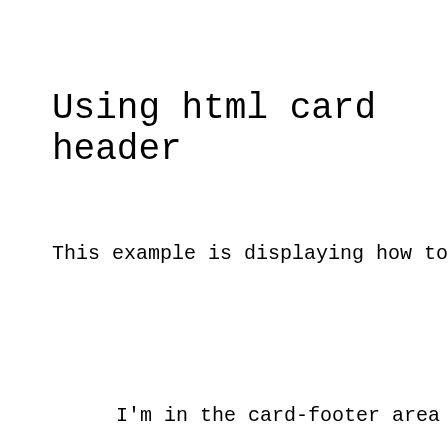Using html card header
This example is displaying how to use ht
I'm in the card-footer area